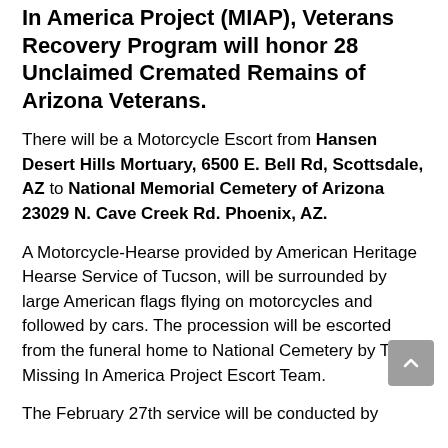In America Project (MIAP), Veterans Recovery Program will honor 28 Unclaimed Cremated Remains of Arizona Veterans.
There will be a Motorcycle Escort from Hansen Desert Hills Mortuary, 6500 E. Bell Rd, Scottsdale, AZ to National Memorial Cemetery of Arizona 23029 N. Cave Creek Rd. Phoenix, AZ.
A Motorcycle-Hearse provided by American Heritage Hearse Service of Tucson, will be surrounded by large American flags flying on motorcycles and followed by cars. The procession will be escorted from the funeral home to National Cemetery by The Missing In America Project Escort Team.
The February 27th service will be conducted by